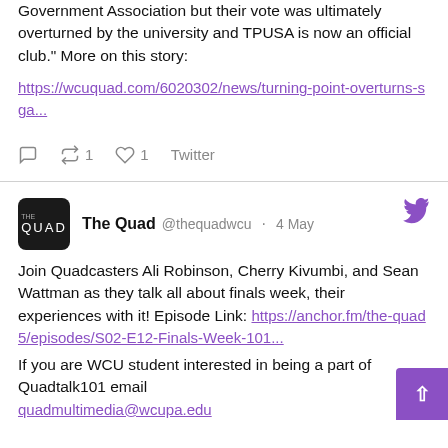Government Association but their vote was ultimately overturned by the university and TPUSA is now an official club." More on this story:
https://wcuquad.com/6020302/news/turning-point-overturns-sga...
1  1  Twitter
[Figure (logo): The Quad logo - black square with THE QUAD text]
The Quad @thequadwcu · 4 May
Join Quadcasters Ali Robinson, Cherry Kivumbi, and Sean Wattman as they talk all about finals week, their experiences with it! Episode Link: https://anchor.fm/the-quad5/episodes/S02-E12-Finals-Week-101... If you are WCU student interested in being a part of Quadtalk101 email quadmultimedia@wcupa.edu